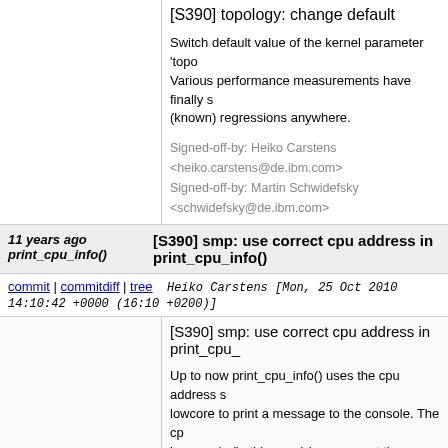[S390] topology: change default
Switch default value of the kernel parameter 'topology. Various performance measurements have finally s (known) regressions anywhere.
Signed-off-by: Heiko Carstens <heiko.carstens@de.ibm.com>
Signed-off-by: Martin Schwidefsky <schwidefsky@de.ibm.com>
11 years ago print_cpu_info()   [S390] smp: use correct cpu address in print_cpu_info()
commit | commitdiff | tree   Heiko Carstens [Mon, 25 Oct 2010 14:10:42 +0000 (16:10 +0200)]
[S390] smp: use correct cpu address in print_cpu_
Up to now print_cpu_info() uses the cpu address s lowcore to print a message to the console. The cp lowcore is (in this case) however not the physical c local cpu. It's the address of the cpu that issued th which started the local cpu.
Fix this by using the store cpu address instruction
It's not that anybody really cares since this is brok ten years...
Signed-off-by: Heiko Carstens <heiko.carstens@de.ibm.com>